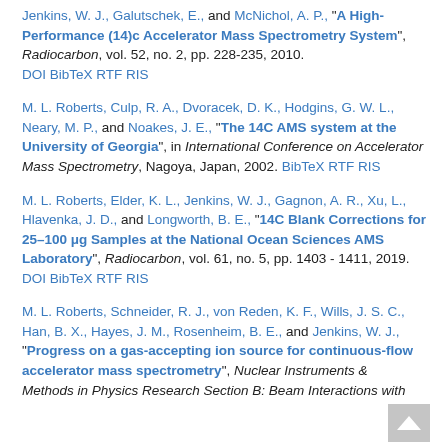Jenkins, W. J., Galutschek, E., and McNichol, A. P., "A High-Performance (14)c Accelerator Mass Spectrometry System", Radiocarbon, vol. 52, no. 2, pp. 228-235, 2010. DOI BibTeX RTF RIS
M. L. Roberts, Culp, R. A., Dvoracek, D. K., Hodgins, G. W. L., Neary, M. P., and Noakes, J. E., "The 14C AMS system at the University of Georgia", in International Conference on Accelerator Mass Spectrometry, Nagoya, Japan, 2002. BibTeX RTF RIS
M. L. Roberts, Elder, K. L., Jenkins, W. J., Gagnon, A. R., Xu, L., Hlavenka, J. D., and Longworth, B. E., "14C Blank Corrections for 25–100 μg Samples at the National Ocean Sciences AMS Laboratory", Radiocarbon, vol. 61, no. 5, pp. 1403 - 1411, 2019. DOI BibTeX RTF RIS
M. L. Roberts, Schneider, R. J., von Reden, K. F., Wills, J. S. C., Han, B. X., Hayes, J. M., Rosenheim, B. E., and Jenkins, W. J., "Progress on a gas-accepting ion source for continuous-flow accelerator mass spectrometry", Nuclear Instruments & Methods in Physics Research Section B: Beam Interactions with...